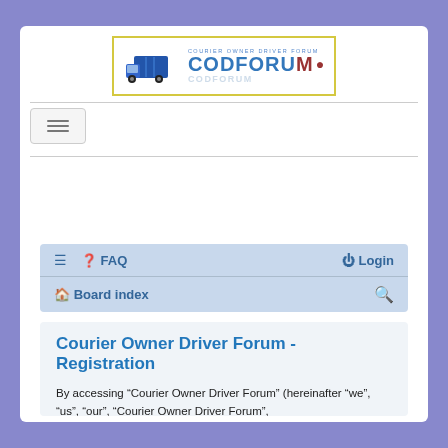[Figure (logo): CODFORUM - Courier Owner Driver Forum logo with blue delivery truck and bold blue text]
[Figure (screenshot): Navigation menu bar with hamburger icon, FAQ, Login, Board index, and search icon on a light blue background]
Courier Owner Driver Forum - Registration
By accessing “Courier Owner Driver Forum” (hereinafter “we”, “us”, “our”, “Courier Owner Driver Forum”, “https://codforum.org.uk/forum”), you agree to be legally bound by the following terms. If you do not agree to be